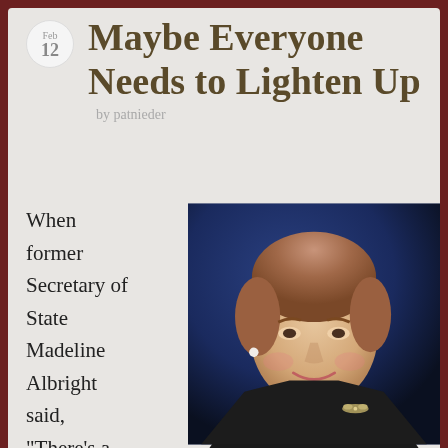Feb 12
Maybe Everyone Needs to Lighten Up
by patnieder
When former Secretary of State Madeline Albright said, “There’s a special place in hell for women
[Figure (photo): Portrait of Madeleine Albright, an older woman with reddish-brown hair, wearing a dark jacket with a brooch/pin, against a dark blue background, smiling.]